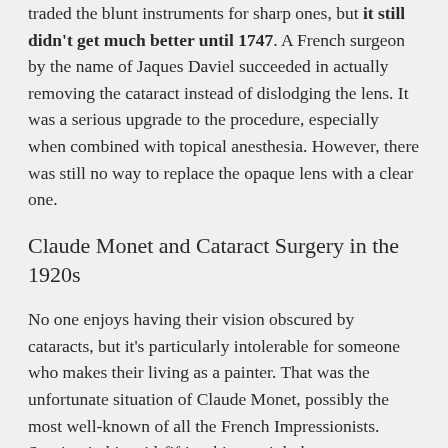traded the blunt instruments for sharp ones, but it still didn't get much better until 1747. A French surgeon by the name of Jaques Daviel succeeded in actually removing the cataract instead of dislodging the lens. It was a serious upgrade to the procedure, especially when combined with topical anesthesia. However, there was still no way to replace the opaque lens with a clear one.
Claude Monet and Cataract Surgery in the 1920s
No one enjoys having their vision obscured by cataracts, but it's particularly intolerable for someone who makes their living as a painter. That was the unfortunate situation of Claude Monet, possibly the most well-known of all the French Impressionists. Starting in his mid-fifties, his eyesight began to deteriorate due to cataracts. You can see how they affected him in the increasingly muddy colors he used in his paintings from that time.